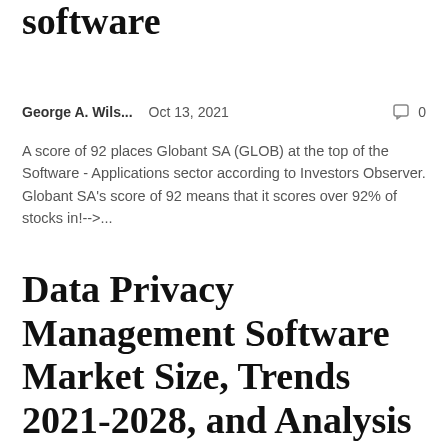software
George A. Wils...    Oct 13, 2021    💬 0
A score of 92 places Globant SA (GLOB) at the top of the Software - Applications sector according to Investors Observer. Globant SA's score of 92 means that it scores over 92% of stocks in!-->...
Data Privacy Management Software Market Size, Trends 2021-2028, and Analysis by